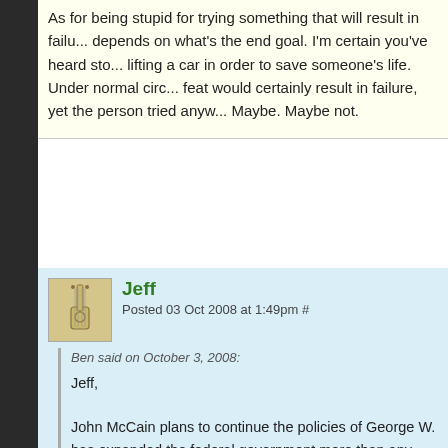As for being stupid for trying something that will result in failure depends on what's the end goal. I'm certain you've heard stories of lifting a car in order to save someone's life. Under normal circumstances that feat would certainly result in failure, yet the person tried anyway. Stupid? Maybe. Maybe not.
Jeff
Posted 03 Oct 2008 at 1:49pm #
Ben said on October 3, 2008:
Jeff,

John McCain plans to continue the policies of George W. has expanded the federal government more than any other president in history.

Obama's plan is not socialized health care, no matter how many times right wingers repeat that line. In fact, his major disagreement with Hillary in the debates was over their health care plans, probably because it didn't socialize the whole system like Hillary's plan.